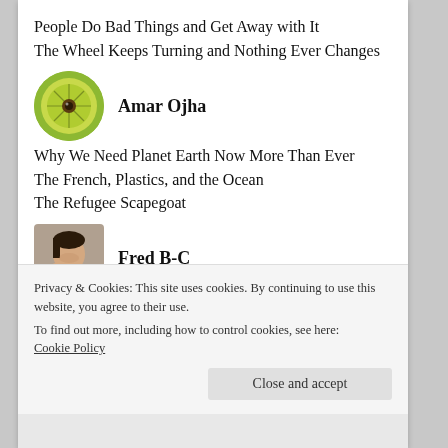People Do Bad Things and Get Away with It
The Wheel Keeps Turning and Nothing Ever Changes
Amar Ojha
Why We Need Planet Earth Now More Than Ever
The French, Plastics, and the Ocean
The Refugee Scapegoat
Fred B-C
Love Yourself Enough to Free Yourself from Your Chains: Privilege and Liberation
I Do Na-Zi A Problem: Why Most Cops Don't
Privacy & Cookies: This site uses cookies. By continuing to use this website, you agree to their use.
To find out more, including how to control cookies, see here: Cookie Policy